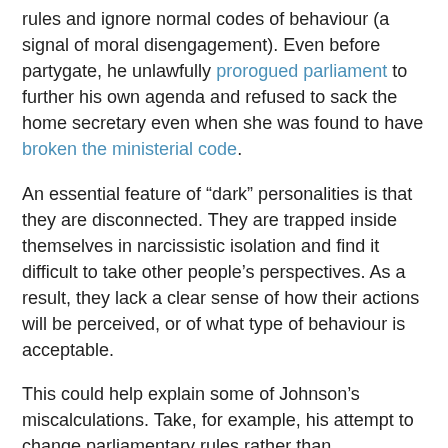rules and ignore normal codes of behaviour (a signal of moral disengagement). Even before partygate, he unlawfully prorogued parliament to further his own agenda and refused to sack the home secretary even when she was found to have broken the ministerial code.
An essential feature of “dark” personalities is that they are disconnected. They are trapped inside themselves in narcissistic isolation and find it difficult to take other people’s perspectives. As a result, they lack a clear sense of how their actions will be perceived, or of what type of behaviour is acceptable.
This could help explain some of Johnson’s miscalculations. Take, for example, his attempt to change parliamentary rules rather than sanctioning former MP Owen Paterson for breaking lobbying rules. Johnson assumed this would be acceptable and failed to anticipate the subsequent furore. He obviously also believed that it was acceptable to smear Keir Starmer with conspiracy theories in parliament. This type of response is typical of the spitefulness of dark